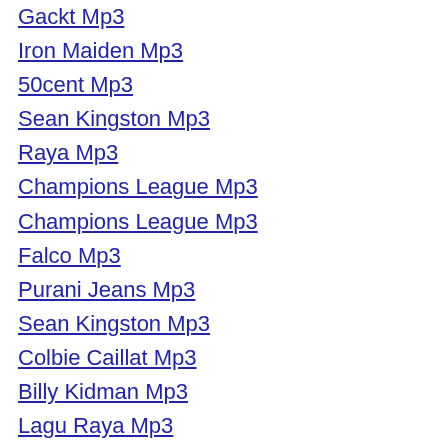Gackt Mp3
Iron Maiden Mp3
50cent Mp3
Sean Kingston Mp3
Raya Mp3
Champions League Mp3
Champions League Mp3
Falco Mp3
Purani Jeans Mp3
Sean Kingston Mp3
Colbie Caillat Mp3
Billy Kidman Mp3
Lagu Raya Mp3
Marathi Mp3
Soldiers Of Allah Mp3
Star Wars Mp3
Madai Thiranthu Mp3
Nelly Furtado Mp3
Hey Ram Jagjit Singh Mp3
Enrique Mp3
U2 Mp3
Colbie Caillat Mp3
Nasik Dhol Mp3
Mozart Mp3
Thodi Mila De Mp3